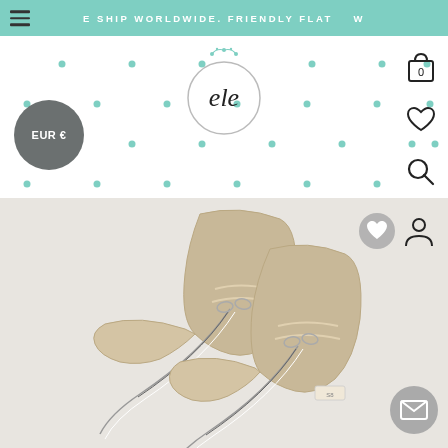E SHIP WORLDWIDE. FRIENDLY FLAT  W
[Figure (logo): Circular logo with decorative crown and script lettering 'ele']
[Figure (illustration): Currency badge showing EUR € in dark grey circle]
[Figure (screenshot): Website navigation with shopping bag icon (0), heart/wishlist icon, search icon, and profile icons on right side]
[Figure (photo): Beige/tan suede lace-up ankle boots photographed on white background, shown from above at an angle]